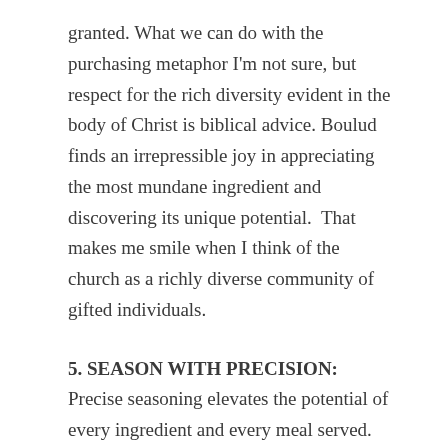granted. What we can do with the purchasing metaphor I'm not sure, but respect for the rich diversity evident in the body of Christ is biblical advice. Boulud finds an irrepressible joy in appreciating the most mundane ingredient and discovering its unique potential.  That makes me smile when I think of the church as a richly diverse community of gifted individuals.
5. SEASON WITH PRECISION: Precise seasoning elevates the potential of every ingredient and every meal served. So, Boulud says, the most creative chef will be disciplined and focused when it comes to this art. It is an art, both in cooking and pastoral ministry. The end of a promising career in the kitchen is in sight when everything that goes out to the dining room